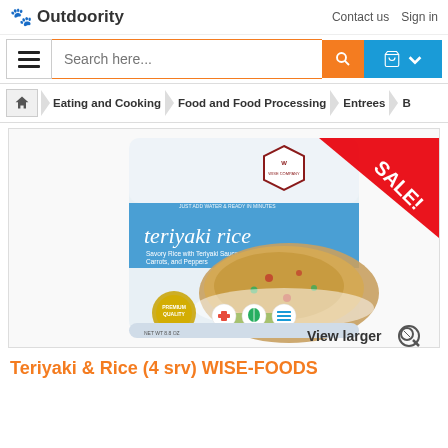Outdoority | Contact us | Sign in
[Figure (screenshot): Search bar with hamburger menu, orange search button, and blue cart button]
[Figure (screenshot): Breadcrumb navigation: home > Eating and Cooking > Food and Food Processing > Entrees > B]
[Figure (photo): Wise Company Teriyaki Rice product bag with SALE! banner, showing teriyaki rice dish with vegetables. View larger button overlay.]
Teriyaki & Rice (4 srv) WISE-FOODS